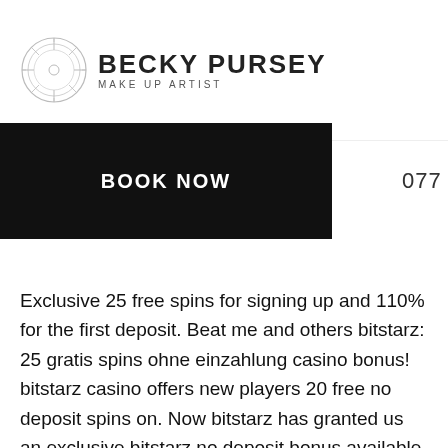Becky Pursey Make Up Artist – BOOK NOW 077 5493 5554
Exclusive 25 free spins for signing up and 110% for the first deposit. Beat me and others bitstarz: 25 gratis spins ohne einzahlung casino bonus! bitstarz casino offers new players 20 free no deposit spins on. Now bitstarz has granted us an exclusive bitstarz no deposit bonus available only from us: 25 free spins with no deposit! (no bitstarz bonus. When you sign up with bitstarz, you'll be eligible for a bitstarz casino sign up free spins. No deposit or bonus code is needed here. Bitstarz casino no deposit bonus codes | march 2022bitstarz casino no deposit bonus promo codes Bitstarz bonus code no deposit free spins. New bonus from evobet casino evobet casino offers a bonus to all